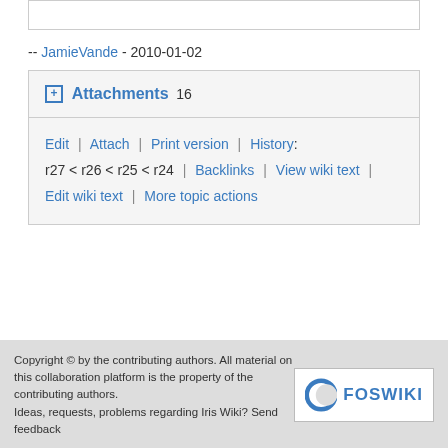-- JamieVande - 2010-01-02
Attachments 16
Edit | Attach | Print version | History: r27 < r26 < r25 < r24 | Backlinks | View wiki text | Edit wiki text | More topic actions
Copyright © by the contributing authors. All material on this collaboration platform is the property of the contributing authors. Ideas, requests, problems regarding Iris Wiki? Send feedback